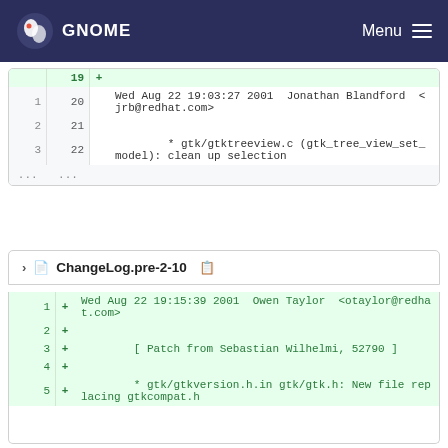GNOME Menu
| old | new | + | content |
| --- | --- | --- | --- |
|  | 19 | + |  |
| 1 | 20 |  | Wed Aug 22 19:03:27 2001  Jonathan Blandford  <jrb@redhat.com> |
| 2 | 21 |  |  |
| 3 | 22 |  | * gtk/gtktreeview.c (gtk_tree_view_set_model): clean up selection |
| ... | ... |  |  |
ChangeLog.pre-2-10
| new | + | content |
| --- | --- | --- |
| 1 | + | Wed Aug 22 19:15:39 2001  Owen Taylor  <otaylor@redhat.com> |
| 2 | + |  |
| 3 | + | [ Patch from Sebastian Wilhelmi, 52790 ] |
| 4 | + |  |
| 5 | + | * gtk/gtkversion.h.in gtk/gtk.h: New file replacing gtkcompat.h |